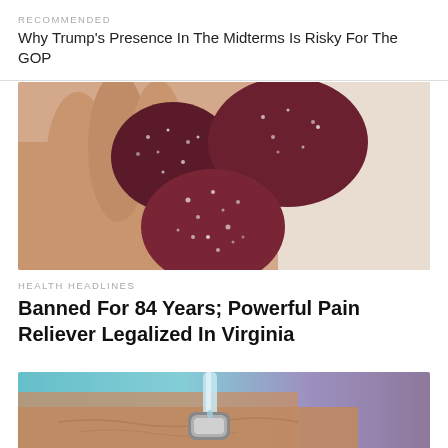RECOMMENDED
Why Trump's Presence In The Midterms Is Risky For The GOP
[Figure (photo): A hand holding several dark red sugar-coated gummy candies or supplement gummies against a light background.]
HEALTH HEADLINES
Banned For 84 Years; Powerful Pain Reliever Legalized In Virginia
[Figure (photo): Close-up of a medical or therapeutic device pressing on skin, with a blurred blue and purple background.]